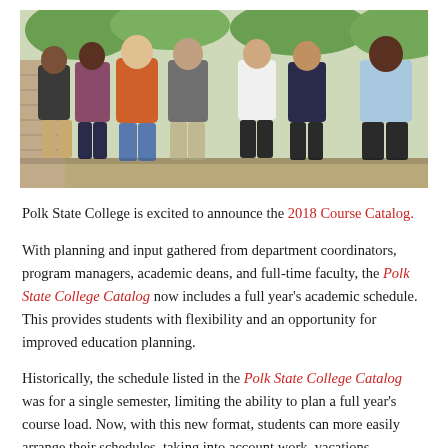[Figure (photo): Group photo of several college students standing together outdoors, with greenery and a brick wall visible in the background.]
Polk State College is excited to announce the 2018 Course Catalog.
With planning and input gathered from department coordinators, program managers, academic deans, and full-time faculty, the Polk State College Catalog now includes a full year's academic schedule. This provides students with flexibility and an opportunity for improved education planning.
Historically, the schedule listed in the Polk State College Catalog was for a single semester, limiting the ability to plan a full year's course load. Now, with this new format, students can more easily arrange their schedules, taking into account work, vacations, internships, and more.